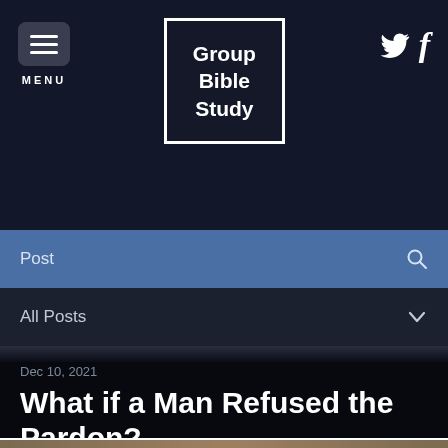MENU | Group Bible Study | Twitter | Facebook
Post
All Posts
Dec 10, 2021
What if a Man Refused the Pardon?